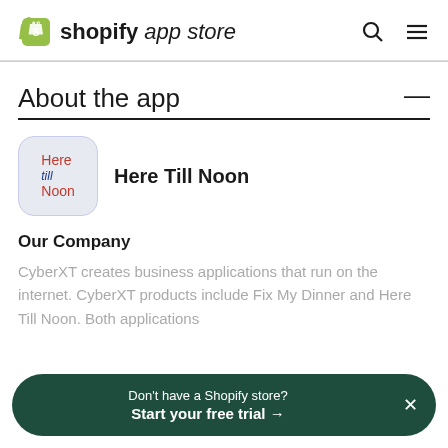shopify app store
About the app
[Figure (logo): Here Till Noon app logo — stylized handwritten text reading 'Here till Noon' in red and blue on a light blue/grey rounded square background]
Here Till Noon
Our Company
CyberXT creates business applications that run on the internet. CyberXT products include Fix My Dinner and Here Till Noon. Both applications
Don't have a Shopify store? Start your free trial →